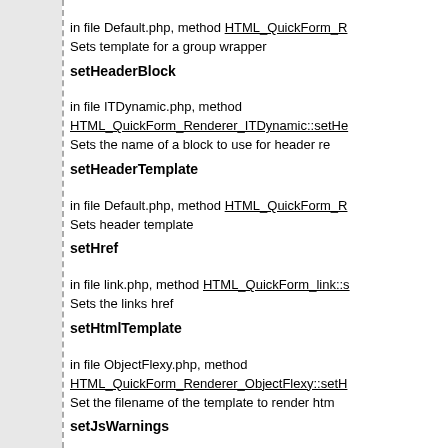setGroupTemplate — in file Default.php, method HTML_QuickForm_R... Sets template for a group wrapper
setHeaderBlock — in file ITDynamic.php, method HTML_QuickForm_Renderer_ITDynamic::setHe... Sets the name of a block to use for header re...
setHeaderTemplate — in file Default.php, method HTML_QuickForm_R... Sets header template
setHref — in file link.php, method HTML_QuickForm_link::s... Sets the links href
setHtmlTemplate — in file ObjectFlexy.php, method HTML_QuickForm_Renderer_ObjectFlexy::setH... Set the filename of the template to render htm...
setJsWarnings — in file QuickForm.php, method HTML_QuickFor... Sets JavaScript warning messages
setLabel — in file element.php, method HTML_QuickForm_e... Sets display text for the element
setLabelTemplate — in file ObjectFlexy.php, method HTML_QuickForm_Renderer_ObjectFlexy::setL... Set the filename of the template to render form... replaced by the unmodified label.
setMainOptions — in file hierselect.php, method HTML_QuickForm... Sets the options for the first select element D...